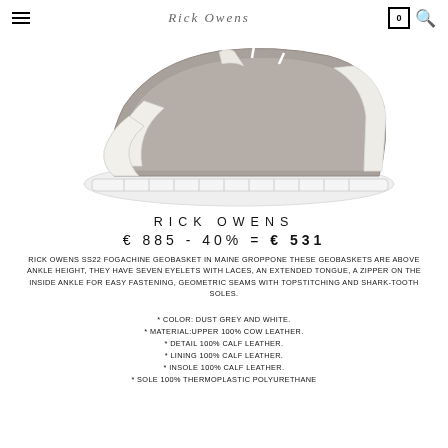Rick Owens
[Figure (photo): Rick Owens sneaker in dust grey and white, side view showing geometric seams, extended tongue, thick white shark-tooth sole, and lace detail.]
RICK OWENS
€ 885 - 40% = € 531
RICK OWENS SS22 FOGACHINE GEOBASKET IN MAINE GROPPONE THESE GEOBASKETS ARE ABOVE ANKLE HEIGHT, THEY HAVE SEVEN EYELETS WITH LACES, AN EXTENDED TONGUE, A ZIPPER ON THE INSIDE ANKLE FOR EASY FASTENING, GEOMETRIC SEAMS WITH TOPSTITCHING AND SHARK-TOOTH SOLES.
* COLOR: DUST GREY AND WHITE.
* MATERIAL:UPPER 100% COW LEATHER.
* DETAIL 100% CALF LEATHER.
* LINING 100% CALF LEATHER.
* INSOLE 100% CALF LEATHER.
* SOLE 100% THERMOPLASTIC POLYURETHANE